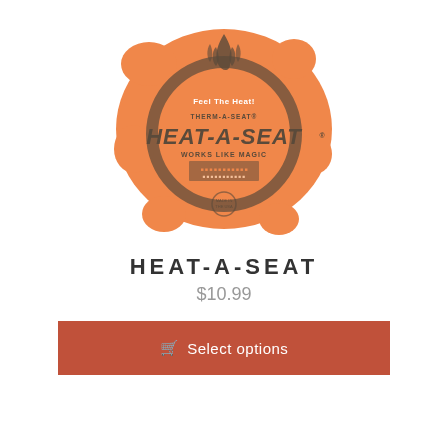[Figure (photo): An orange Heat-A-Seat cushion product by Therm-A-Seat, showing the brand logo with flame design and text 'Feel The Heat', 'THERM-A-SEAT', 'HEAT-A-SEAT', 'WORKS LIKE MAGIC', made in USA.]
HEAT-A-SEAT
$10.99
Select options